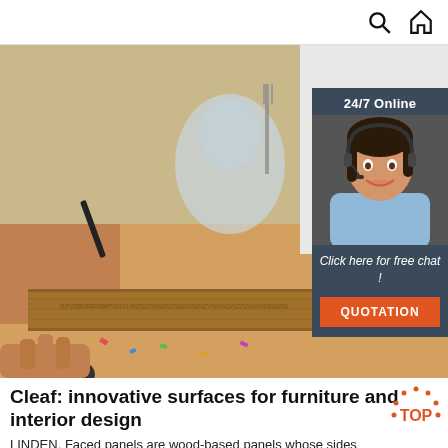Search and Home navigation icons
[Figure (photo): Close-up photo of a person holding a wooden panel/ruler over a table with glassware, confetti, and other items. Shows wood grain texture on the panel.]
[Figure (infographic): 24/7 Online chat widget with a smiling female customer service agent wearing a headset. Includes 'Click here for free chat!' text and an orange QUOTATION button.]
Cleaf: innovative surfaces for furniture and interior design
LINDEN. Faced panels are wood-based panels whose sides have been covered with decorative paper or foil